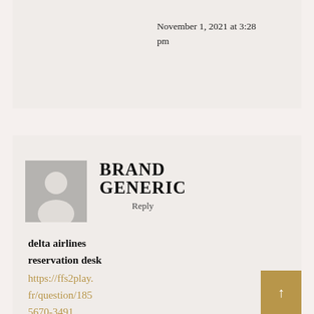November 1, 2021 at 3:28 pm
BRAND GENERIC
Reply
delta airlines reservation desk
https://ffs2play.fr/question/185 5670-3491